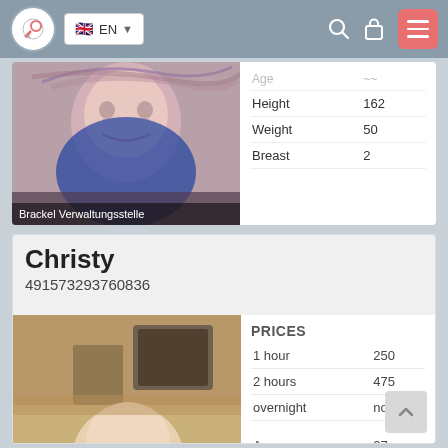EN navigation bar with search, lock, and menu icons
[Figure (photo): Partial view of a woman's face with red/brown hair, smiling, wearing dark clothing]
Brackel Verwaltungsstelle
|  |  |
| --- | --- |
| Age |  |
| Height | 162 |
| Weight | 50 |
| Breast | 2 |
Christy
491573293760836
[Figure (photo): Photo of a blonde woman viewed from behind in an indoor room setting]
| PRICES |  |
| --- | --- |
| 1 hour | 250 |
| 2 hours | 475 |
| overnight | no |
| Age | 27 |
| Height | 169 |
| Weight | 74 |
| Breast | 2 |